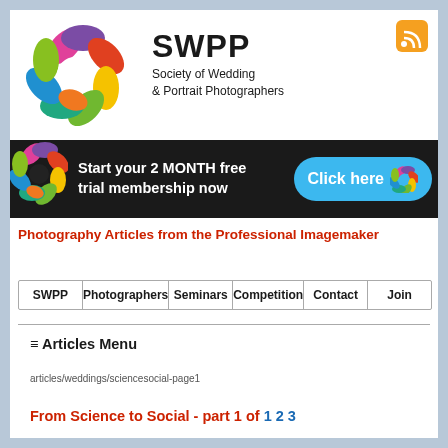[Figure (logo): SWPP colorful star/flower logo and text: SWPP Society of Wedding & Portrait Photographers]
[Figure (infographic): Black banner with text: Start your 2 MONTH free trial membership now, with blue Click here button and small colorful logo on the right]
Photography Articles from the Professional Imagemaker
| SWPP | Photographers | Seminars | Competition | Contact | Join |
| --- | --- | --- | --- | --- | --- |
≡ Articles Menu
articles/weddings/sciencesocial-page1
From Science to Social - part 1 of 1 2 3